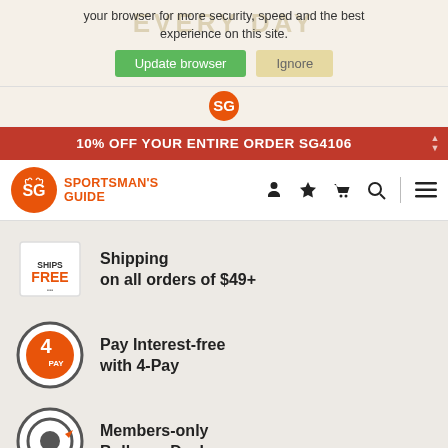your browser for more security, speed and the best experience on this site.
Update browser | Ignore
10% OFF YOUR ENTIRE ORDER SG4106
[Figure (logo): Sportsman's Guide SG logo in orange circle]
SPORTSMAN'S GUIDE
[Figure (infographic): Ships Free badge icon - box with ships free text]
Shipping on all orders of $49+
[Figure (infographic): 4-Pay circular badge icon in orange and grey]
Pay Interest-free with 4-Pay
[Figure (infographic): Bullseye Deals circular member badge icon in grey]
Members-only Bullseye Deals
Learn More About the Club